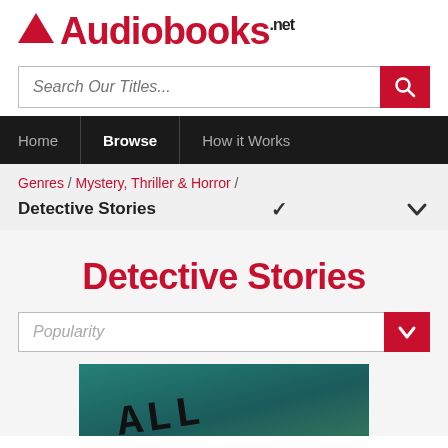[Figure (logo): Audiobooks.net logo with red triangle and red text]
Search Our Titles...
Home | Browse | How it Works
Genres / Mystery, Thriller & Horror / Detective Stories
Detective Stories
Popularity
[Figure (photo): Book cover showing text 'ALL' in dark handwriting style on teal/dark background]